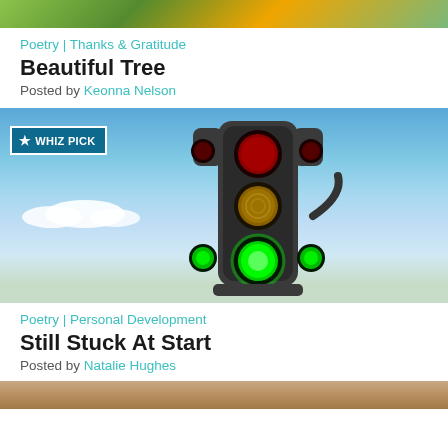[Figure (photo): Top portion of a tree photo, partially cropped]
Poetry | Thanks & Gratitude
Beautiful Tree
Posted by Keonna Nelson
[Figure (photo): Traffic light showing green light lit, against a blue sky with clouds, with a WHIZ PICK badge overlay]
Poetry | Personal Development
Still Stuck At Start
Posted by Natalie Hughes
[Figure (photo): Bottom portion of a person photo, partially cropped]